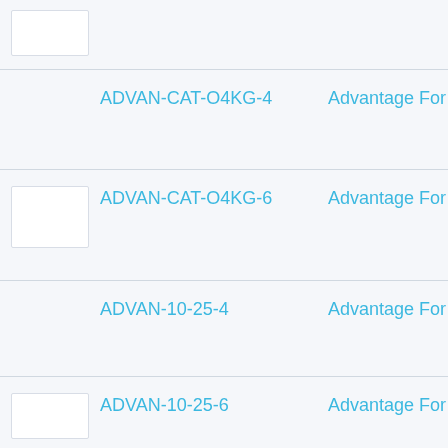[Figure (photo): Product thumbnail image, partial view at top of page]
| Image | Product Code | Product Name |
| --- | --- | --- |
| [image] | ADVAN-CAT-O4KG-4 | Advantage For |
| [image] | ADVAN-CAT-O4KG-6 | Advantage For |
|  | ADVAN-10-25-4 | Advantage For |
| [image] | ADVAN-10-25-6 | Advantage For |